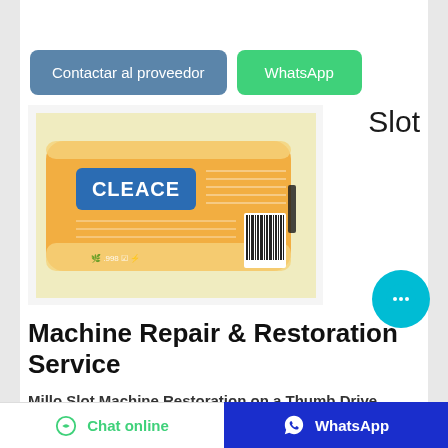[Figure (screenshot): Blue 'Contactar al proveedor' button and green 'WhatsApp' button side by side]
Slot
[Figure (photo): CLEACE branded orange wet wipes package with barcode, shown from the back]
Machine Repair & Restoration Service
Millo Slot Machine Restoration on a Thumb Drive
Chat online   WhatsApp